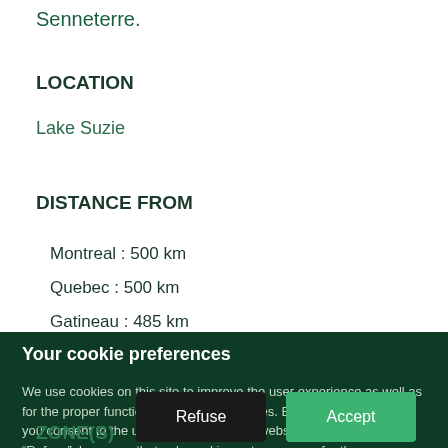Senneterre.
LOCATION
Lake Suzie
DISTANCE FROM
Montreal : 500 km
Quebec : 500 km
Gatineau : 485 km
Saguenay : 363 km
Your cookie preferences
We use cookies on this site to improve the user experience as well as for the proper functioning of certain features. By clicking on "Accept", you consent to the use of cookies on our website. By clicking on "Refuse", be aware that only cookies not necessary for the proper functioning of the site will be deactivated.
ZONE(S)